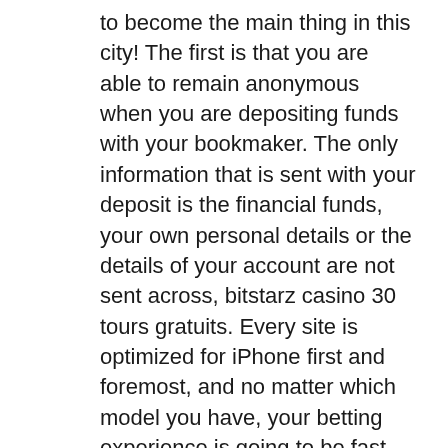to become the main thing in this city! The first is that you are able to remain anonymous when you are depositing funds with your bookmaker. The only information that is sent with your deposit is the financial funds, your own personal details or the details of your account are not sent across, bitstarz casino 30 tours gratuits. Every site is optimized for iPhone first and foremost, and no matter which model you have, your betting experience is going to be fast, smooth, and streamlined. The iPhone betting sites we recommend are the best in the business, which is what every Apple customer expects as a matter of course, bitstarz casino 30 ilmaiskierroksia. From the creators of Bitcoin Blast comes the supreme match-two game Bitcoin Blocks where you can have tons of fun and cash out REAL Bitcoin, bitstarz casino 30 gratissnurr. BE ADVISED : It takes a long time to earn